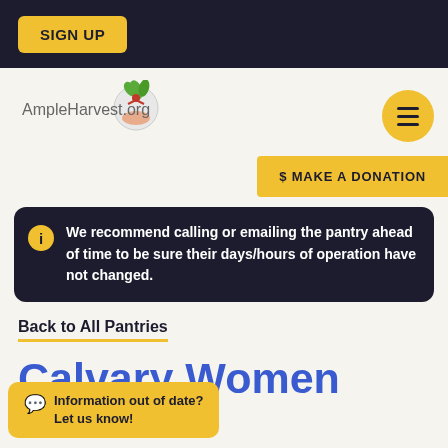SIGN UP
[Figure (logo): AmpleHarvest.org logo with tomato/plant graphic]
$ MAKE A DONATION
We recommend calling or emailing the pantry ahead of time to be sure their days/hours of operation have not changed.
Back to All Pantries
Calvary Women
Pantry #8454
Information out of date? Let us know!